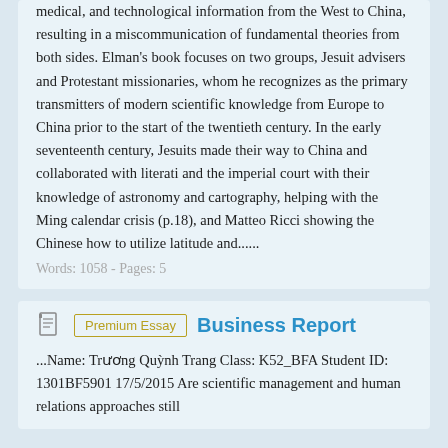medical, and technological information from the West to China, resulting in a miscommunication of fundamental theories from both sides. Elman's book focuses on two groups, Jesuit advisers and Protestant missionaries, whom he recognizes as the primary transmitters of modern scientific knowledge from Europe to China prior to the start of the twentieth century. In the early seventeenth century, Jesuits made their way to China and collaborated with literati and the imperial court with their knowledge of astronomy and cartography, helping with the Ming calendar crisis (p.18), and Matteo Ricci showing the Chinese how to utilize latitude and......
Words: 1058 - Pages: 5
Premium Essay
Business Report
...Name: Trương Quỳnh Trang Class: K52_BFA Student ID: 1301BF5901 17/5/2015 Are scientific management and human relations approaches still